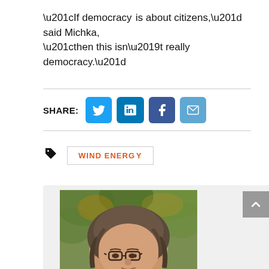“If democracy is about citizens,” said Michka, “then this isn’t really democracy.”
SHARE: [Twitter] [LinkedIn] [Facebook] [Email]
WIND ENERGY
[Figure (photo): Portrait photo of a woman with glasses and shoulder-length grey-brown hair, photographed outdoors in front of green foliage.]